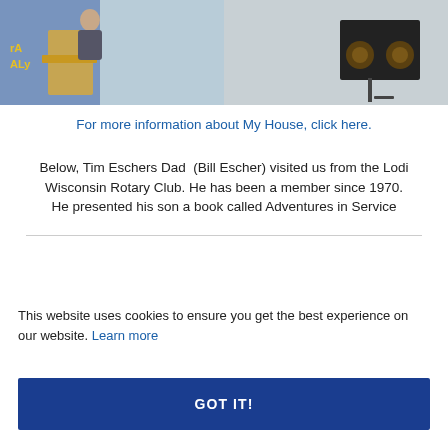[Figure (photo): Two side-by-side photos: left shows a person near a podium with a blue background and yellow lettering; right shows audio/speaker equipment on a stand.]
For more information about My House, click here.
Below, Tim Eschers Dad  (Bill Escher) visited us from the Lodi Wisconsin Rotary Club. He has been a member since 1970.
He presented his son a book called Adventures in Service
This website uses cookies to ensure you get the best experience on our website. Learn more
GOT IT!